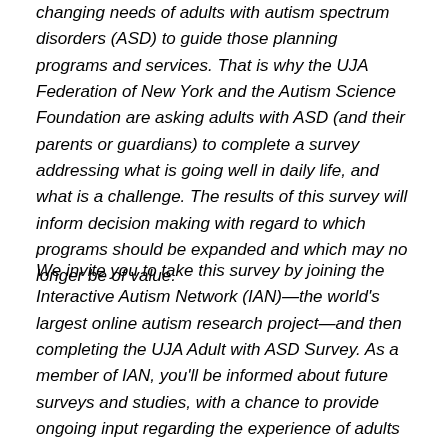changing needs of adults with autism spectrum disorders (ASD) to guide those planning programs and services. That is why the UJA Federation of New York and the Autism Science Foundation are asking adults with ASD (and their parents or guardians) to complete a survey addressing what is going well in daily life, and what is a challenge. The results of this survey will inform decision making with regard to which programs should be expanded and which may no longer be of value.
We invite you to take this survey by joining the Interactive Autism Network (IAN)—the world's largest online autism research project—and then completing the UJA Adult with ASD Survey. As a member of IAN, you'll be informed about future surveys and studies, with a chance to provide ongoing input regarding the experience of adults with ASD over time.